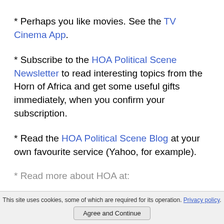* Perhaps you like movies. See the TV Cinema App.
* Subscribe to the HOA Political Scene Newsletter to read interesting topics from the Horn of Africa and get some useful gifts immediately, when you confirm your subscription.
* Read the HOA Political Scene Blog at your own favourite service (Yahoo, for example).
* Read more about HOA at:
This site uses cookies, some of which are required for its operation. Privacy policy
Agree and Continue